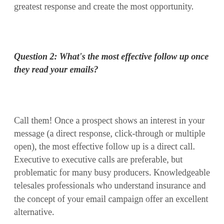greatest response and create the most opportunity.
Question 2: What's the most effective follow up once they read your emails?
Call them! Once a prospect shows an interest in your message (a direct response, click-through or multiple open), the most effective follow up is a direct call. Executive to executive calls are preferable, but problematic for many busy producers. Knowledgeable telesales professionals who understand insurance and the concept of your email campaign offer an excellent alternative.